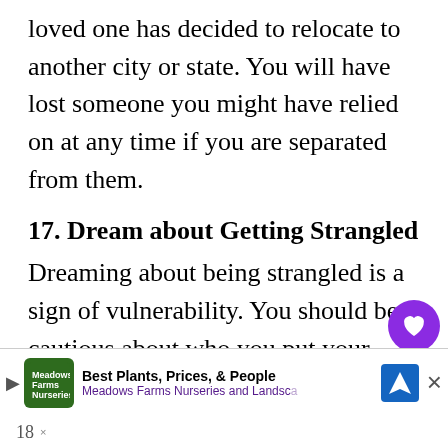loved one has decided to relocate to another city or state. You will have lost someone you might have relied on at any time if you are separated from them.
17. Dream about Getting Strangled
Dreaming about being strangled is a sign of vulnerability. You should be cautious about who you put your trust in.
You're building a solid foundation for yourself and your family. It represents so unsolved emotional problems
[Figure (other): Purple heart/like button icon and share button with count of 4]
[Figure (other): Advertisement banner for Meadows Farms Nurseries and Landscape with logo, text 'Best Plants, Prices, & People', navigation icon, and close button]
18